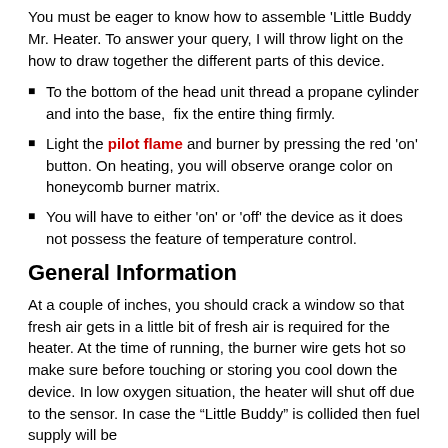You must be eager to know how to assemble 'Little Buddy Mr. Heater. To answer your query, I will throw light on the how to draw together the different parts of this device.
To the bottom of the head unit thread a propane cylinder and into the base, fix the entire thing firmly.
Light the pilot flame and burner by pressing the red 'on' button. On heating, you will observe orange color on honeycomb burner matrix.
You will have to either 'on' or 'off' the device as it does not possess the feature of temperature control.
General Information
At a couple of inches, you should crack a window so that fresh air gets in a little bit of fresh air is required for the heater. At the time of running, the burner wire gets hot so make sure before touching or storing you cool down the device. In low oxygen situation, the heater will shut off due to the sensor. In case the "Little Buddy" is collided then fuel supply will be